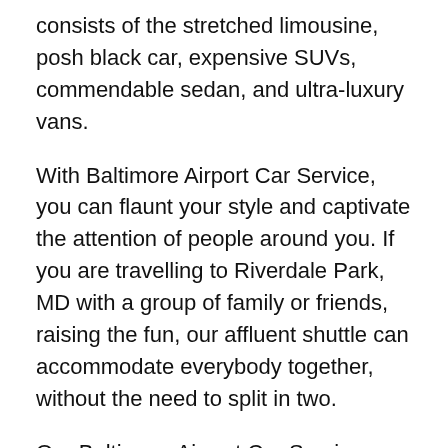consists of the stretched limousine, posh black car, expensive SUVs, commendable sedan, and ultra-luxury vans.
With Baltimore Airport Car Service, you can flaunt your style and captivate the attention of people around you. If you are travelling to Riverdale Park, MD with a group of family or friends, raising the fun, our affluent shuttle can accommodate everybody together, without the need to split in two.
Our Baltimore Airport Car Service client base includes customers from all over the world. We at BWI Car Service have a long list of corporate clients as well as tourist who seeks for the punctual and at the same time serene car rental with friendly